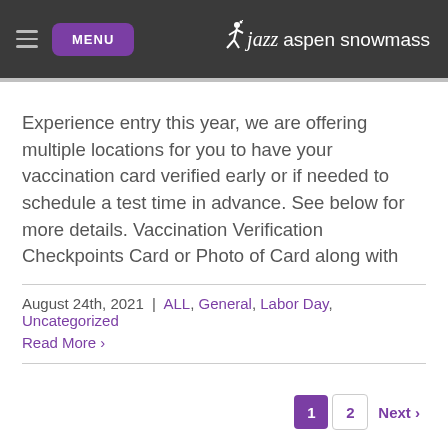MENU | jazz aspen snowmass
Experience entry this year, we are offering multiple locations for you to have your vaccination card verified early or if needed to schedule a test time in advance. See below for more details. Vaccination Verification Checkpoints Card or Photo of Card along with
August 24th, 2021 | ALL, General, Labor Day, Uncategorized
Read More >
1  2  Next >